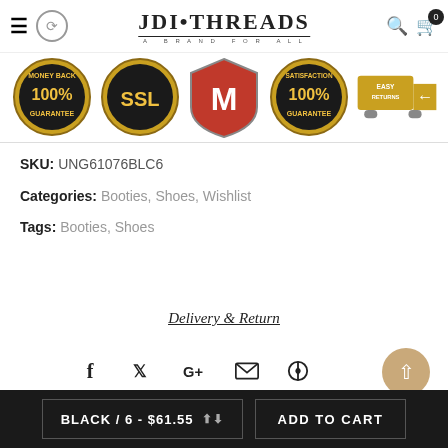JDI THREADS - A BRAND FOR ALL
[Figure (infographic): Trust badge strip showing: 100% Money Back Guarantee seal, SSL certificate seal, McAfee security shield, 100% Satisfaction Guarantee seal, Easy Returns truck icon]
SKU: UNG61076BLC6
Categories: Booties, Shoes, Wishlist
Tags: Booties, Shoes
Delivery & Return
[Figure (infographic): Social sharing icons: Facebook, Twitter, Google+, Email, Pinterest]
BLACK / 6 - $61.55  ADD TO CART